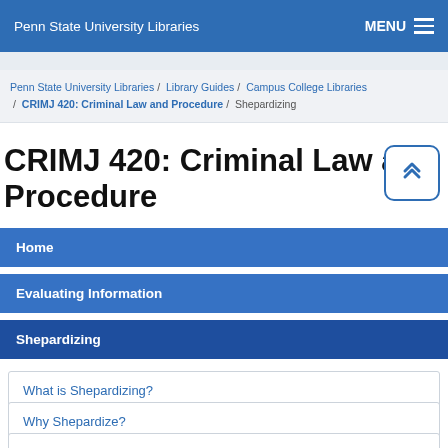Penn State University Libraries  MENU
Penn State University Libraries / Library Guides / Campus College Libraries / CRIMJ 420: Criminal Law and Procedure / Shepardizing
CRIMJ 420: Criminal Law and Procedure
Home
Evaluating Information
Shepardizing
What is Shepardizing?
Why Shepardize?
How Do I Shepardize a Case?
Commentary and Analysis